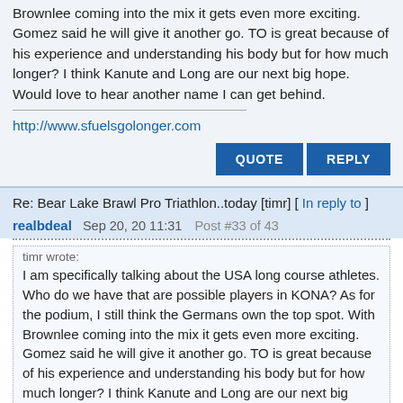Brownlee coming into the mix it gets even more exciting. Gomez said he will give it another go. TO is great because of his experience and understanding his body but for how much longer? I think Kanute and Long are our next big hope. Would love to hear another name I can get behind.
http://www.sfuelsgolonger.com
QUOTE  REPLY
Re: Bear Lake Brawl Pro Triathlon..today [timr] [ In reply to ]
realbdeal  Sep 20, 20 11:31  Post #33 of 43
timr wrote:
I am specifically talking about the USA long course athletes. Who do we have that are possible players in KONA? As for the podium, I still think the Germans own the top spot. With Brownlee coming into the mix it gets even more exciting. Gomez said he will give it another go. TO is great because of his experience and understanding his body but for how much longer? I think Kanute and Long are our next big hope. Would love to hear another name I can